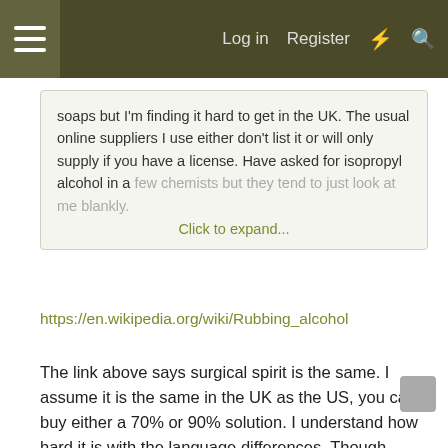Menu | Log in | Register
soaps but I'm finding it hard to get in the UK. The usual online suppliers I use either don't list it or will only supply if you have a license. Have asked for isopropyl alcohol in a few chemists but they tend to just look at me blankly. Click to expand...
https://en.wikipedia.org/wiki/Rubbing_alcohol
The link above says surgical spirit is the same. I assume it is the same in the UK as the US, you can buy either a 70% or 90% solution. I understand how hard it is with the language differences. Though subtle it can be challenging. I lived in the UK for 2 years and in Germany for 2 years. While in Germany I needed Tongue Oil for wood. Of course that got lost in the translation and the hardware store told me to go to the butcher -- very funny now but quite frustrating at the time.